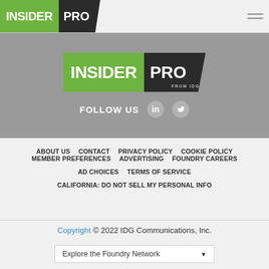INSIDER PRO
[Figure (logo): Insider Pro from IDG logo centered on gray banner with Follow Us social icons (LinkedIn and Twitter)]
ABOUT US  CONTACT  PRIVACY POLICY  COOKIE POLICY
MEMBER PREFERENCES  ADVERTISING  FOUNDRY CAREERS
AD CHOICES  TERMS OF SERVICE
CALIFORNIA: DO NOT SELL MY PERSONAL INFO
Copyright © 2022 IDG Communications, Inc.
Explore the Foundry Network